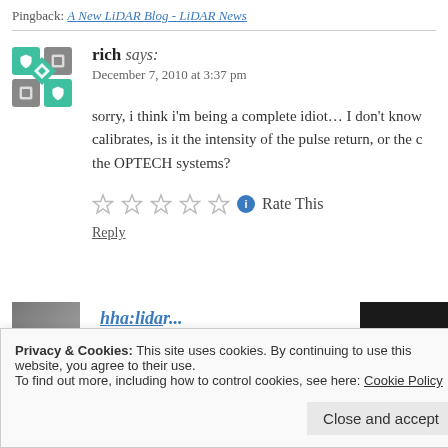Pingback: A New LiDAR Blog - LiDAR News
rich says:
December 7, 2010 at 3:37 pm
sorry, i think i'm being a complete idiot… I don't know what calibrates, is it the intensity of the pulse return, or the o the OPTECH systems?
Rate This
Reply
Privacy & Cookies: This site uses cookies. By continuing to use this website, you agree to their use.
To find out more, including how to control cookies, see here: Cookie Policy
Close and accept
and it is an automated. It used planar surfa